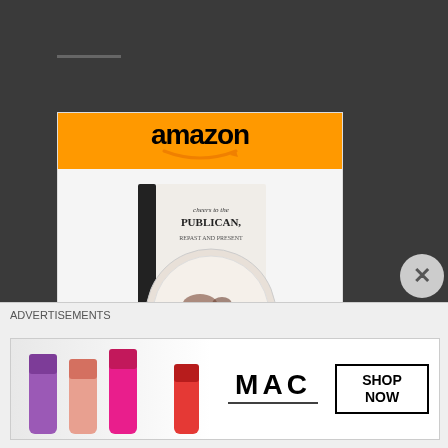[Figure (screenshot): Amazon advertisement card for 'Cheers to the Publican,...' book priced at $8.00 with Shop now button]
[Figure (screenshot): Partial second Amazon advertisement card visible at bottom of page]
ADVERTISEMENTS
[Figure (screenshot): MAC Cosmetics banner advertisement showing lipsticks with 'SHOP NOW' button]